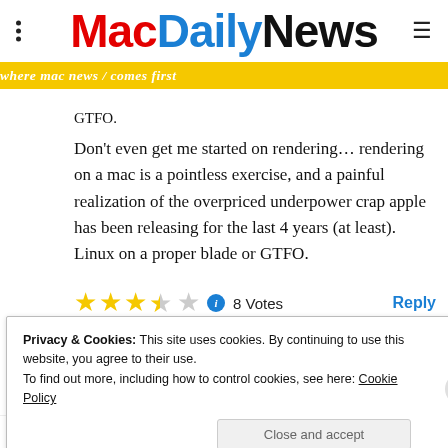MacDailyNews — where mac news comes first
GTFO.
Don't even get me started on rendering… rendering on a mac is a pointless exercise, and a painful realization of the overpriced underpower crap apple has been releasing for the last 4 years (at least). Linux on a proper blade or GTFO.
8 Votes   Reply
Pac Man
Privacy & Cookies: This site uses cookies. By continuing to use this website, you agree to their use. To find out more, including how to control cookies, see here: Cookie Policy
Close and accept
9 Votes   Reply